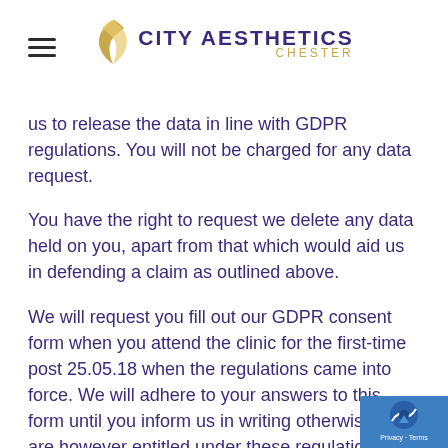CITY AESTHETICS CHESTER
us to release the data in line with GDPR regulations. You will not be charged for any data request.
You have the right to request we delete any data held on you, apart from that which would aid us in defending a claim as outlined above.
We will request you fill out our GDPR consent form when you attend the clinic for the first-time post 25.05.18 when the regulations came into force. We will adhere to your answers to this form until you inform us in writing otherwise. We are however entitled under these regulations to contact you via other means if deemed in your best interests or there is a legitimate interest. All our staff who have access to personally identifiable information have been trained in these regulations and received a copy of our handbook advising them on